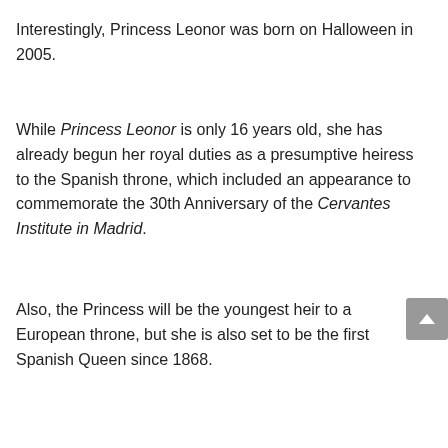Interestingly, Princess Leonor was born on Halloween in 2005.
While Princess Leonor is only 16 years old, she has already begun her royal duties as a presumptive heiress to the Spanish throne, which included an appearance to commemorate the 30th Anniversary of the Cervantes Institute in Madrid.
Also, the Princess will be the youngest heir to a European throne, but she is also set to be the first Spanish Queen since 1868.